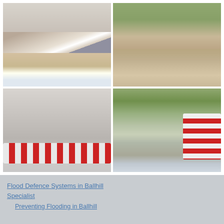[Figure (photo): Top-left: Dark flood barrier wall with white rushing water spilling alongside a building]
[Figure (photo): Top-right: Flooded yard/garden area next to brick building with muddy brown water]
[Figure (photo): Bottom-left: Person standing next to red and white portable flood barrier units against a grey brick wall]
[Figure (photo): Bottom-right: Flooded path/lane with red and white portable flood barriers along the right side, trees and hedge visible]
Flood Defence Systems in Ballhill Specialist
Preventing Flooding in Ballhill